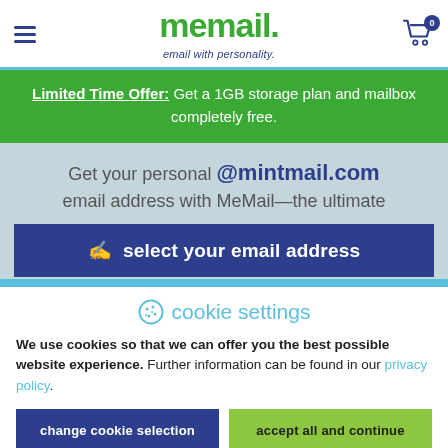memail. email with personality.
Limited Time Offer: Get a 1GB storage plan and mailbox completely free.
[Figure (screenshot): Hero section with text: Get your personal @mintmail.com email address with MeMail—the ultimate, overlaid with a dark blue CTA button: select your email address]
cookie settings
We use cookies so that we can offer you the best possible website experience. Further information can be found in our privacy policy.
change cookie selection
accept all and continue